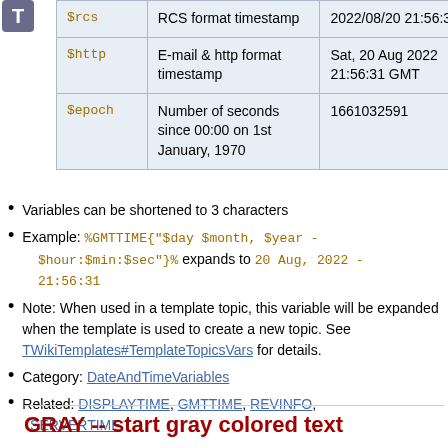| Variable | Description | Example |
| --- | --- | --- |
| $rcs | RCS format timestamp | 2022/08/20 21:56:31 |
| $http | E-mail & http format timestamp | Sat, 20 Aug 2022 21:56:31 GMT |
| $epoch | Number of seconds since 00:00 on 1st January, 1970 | 1661032591 |
Variables can be shortened to 3 characters
Example: %GMTTIME{"$day $month, $year - $hour:$min:$sec"}% expands to 20 Aug, 2022 - 21:56:31
Note: When used in a template topic, this variable will be expanded when the template is used to create a new topic. See TWikiTemplates#TemplateTopicsVars for details.
Category: DateAndTimeVariables
Related: DISPLAYTIME, GMTTIME, REVINFO, SERVERTIME
GRAY -- start gray colored text